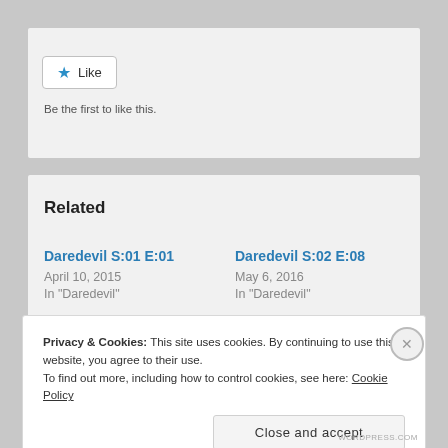[Figure (screenshot): Like button with blue star icon and 'Like' text, with 'Be the first to like this.' below]
Related
Daredevil S:01 E:01
April 10, 2015
In "Daredevil"
Daredevil S:02 E:08
May 6, 2016
In "Daredevil"
Privacy & Cookies: This site uses cookies. By continuing to use this website, you agree to their use.
To find out more, including how to control cookies, see here: Cookie Policy
Close and accept